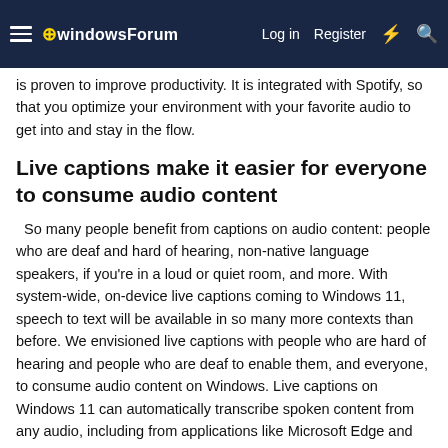windowsForum  Log in  Register
is proven to improve productivity. It is integrated with Spotify, so that you optimize your environment with your favorite audio to get into and stay in the flow.
Live captions make it easier for everyone to consume audio content
So many people benefit from captions on audio content: people who are deaf and hard of hearing, non-native language speakers, if you're in a loud or quiet room, and more. With system-wide, on-device live captions coming to Windows 11, speech to text will be available in so many more contexts than before. We envisioned live captions with people who are hard of hearing and people who are deaf to enable them, and everyone, to consume audio content on Windows. Live captions on Windows 11 can automatically transcribe spoken content from any audio, including from applications like Microsoft Edge and even from microphones – which means you can get captions for a live, in-person conversation! It's available now for Windows Insiders. You can find live captions from Settings > Accessibility